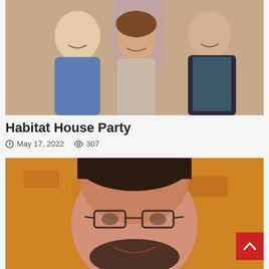[Figure (photo): Three adults smiling at an event: a bald man in a blue pullover on the left, a woman with short brown hair in a light sweater in the center, and a taller man in a dark vest on the right. Background has warm orange/pink lighting.]
Habitat House Party
May 17, 2022   307
[Figure (photo): Close-up portrait of a man with glasses and a beard, smiling. Background is blurred warm orange/yellow tones.]